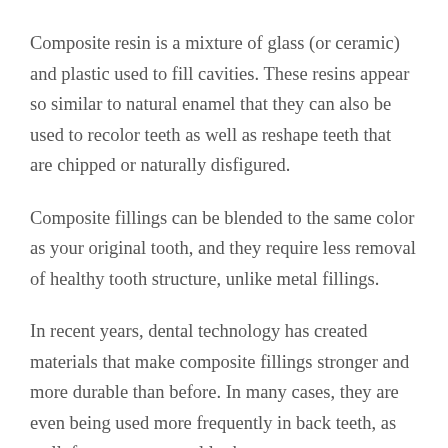Composite resin is a mixture of glass (or ceramic) and plastic used to fill cavities. These resins appear so similar to natural enamel that they can also be used to recolor teeth as well as reshape teeth that are chipped or naturally disfigured.
Composite fillings can be blended to the same color as your original tooth, and they require less removal of healthy tooth structure, unlike metal fillings.
In recent years, dental technology has created materials that make composite fillings stronger and more durable than before. In many cases, they are even being used more frequently in back teeth, as well, for a more natural look.